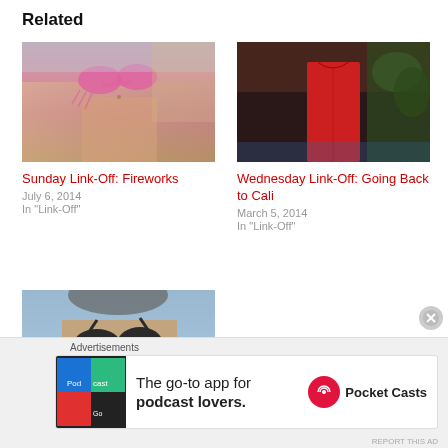Related
[Figure (photo): Woman in pink bikini top at beach]
Sunday Link-Off: Fireworks
July 6, 2014
In "Link-Off"
[Figure (photo): Woman in red dress]
Wednesday Link-Off: Going Back to Cali
March 5, 2014
In "Link-Off"
[Figure (photo): Woman in black bikini top in sun]
Sunday Link-Off: The Fun
Advertisements
[Figure (screenshot): Pocket Casts advertisement: The go-to app for podcast lovers.]